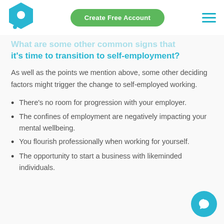[Figure (logo): Blue hexagon logo with white circle inside]
[Figure (other): Green rounded rectangle button with text 'Create Free Account']
[Figure (other): Hamburger menu icon with three horizontal blue lines]
What are some other common signs that it's time to transition to self-employment?
As well as the points we mention above, some other deciding factors might trigger the change to self-employed working.
There's no room for progression with your employer.
The confines of employment are negatively impacting your mental wellbeing.
You flourish professionally when working for yourself.
The opportunity to start a business with likeminded individuals.